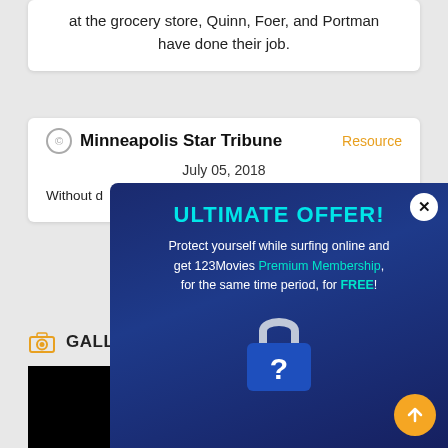at the grocery store, Quinn, Foer, and Portman have done their job.
Minneapolis Star Tribune
Resource
July 05, 2018
Without d... challenges c... nee...
[Figure (screenshot): Popup advertisement overlay with dark blue background. Title: ULTIMATE OFFER! Text: Protect yourself while surfing online and get 123Movies Premium Membership, for the same time period, for FREE! Contains a lock icon with question mark and a close button.]
GALLERY O...
[Figure (photo): Black rectangle image thumbnail at bottom left]